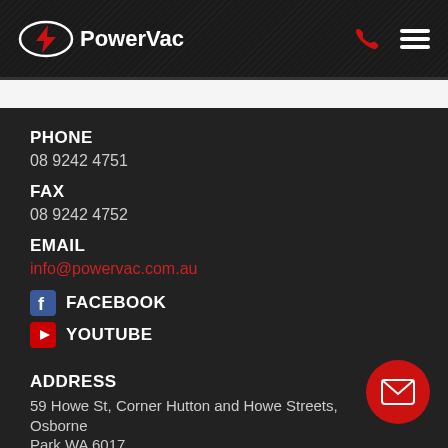PowerVac
PHONE
08 9242 4751
FAX
08 9242 4752
EMAIL
info@powervac.com.au
FACEBOOK
YOUTUBE
ADDRESS
59 Howe St, Corner Hutton and Howe Streets, Osborne Park WA 6017